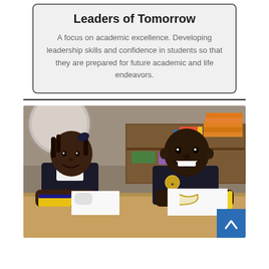Leaders of Tomorrow
A focus on academic excellence. Developing leadership skills and confidence in students so that they are prepared for future academic and life endeavors.
[Figure (photo): Two young elementary school children in school uniforms sitting at a classroom table, smiling and working on coloring pages. The girl on the left wears a white shirt and dark jumper, the boy on the right wears a dark polo shirt with a school logo. Classroom bookshelves with stacked orange folders and books visible in the background. A blue scroll-to-top button is in the bottom right corner.]